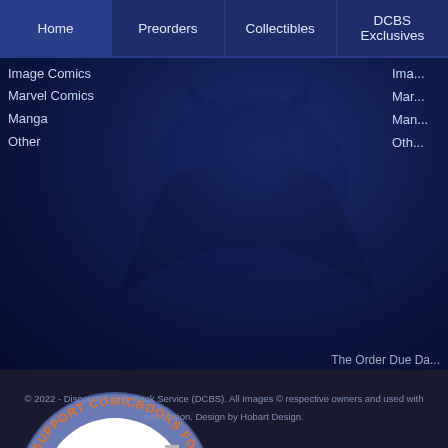Home | Preorders | Collectibles | DCBS Exclusives
Image Comics
Marvel Comics
Manga
Other
The Order Due Da...
[Figure (logo): Circular badge logo reading 'WE SUPPORT COMICBOOKS FOR KIDS!' with a child reading comic books in hospital bed in the center]
© 2022 - Discount Comic Book Service (DCBS). All Images © respective owners and used with permission. Design by Hobart Design.